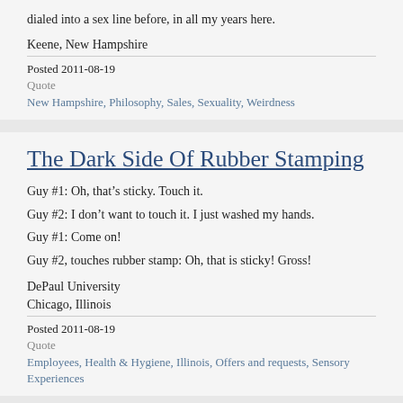dialed into a sex line before, in all my years here.
Keene, New Hampshire
Posted 2011-08-19
Quote
New Hampshire, Philosophy, Sales, Sexuality, Weirdness
The Dark Side Of Rubber Stamping
Guy #1: Oh, that’s sticky. Touch it.
Guy #2: I don’t want to touch it. I just washed my hands.
Guy #1: Come on!
Guy #2, touches rubber stamp: Oh, that is sticky! Gross!
DePaul University
Chicago, Illinois
Posted 2011-08-19
Quote
Employees, Health & Hygiene, Illinois, Offers and requests, Sensory Experiences